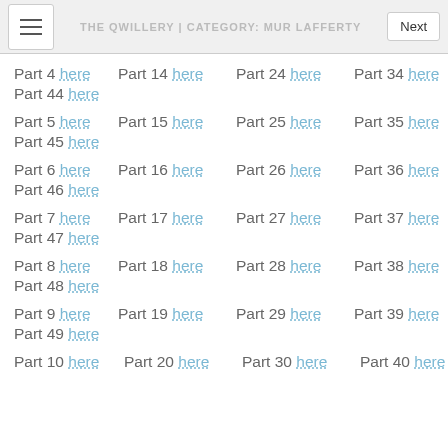THE QWILLERY | CATEGORY: MUR LAFFERTY
Part 4 here   Part 14 here   Part 24 here   Part 34 here
Part 44 here
Part 5 here   Part 15 here   Part 25 here   Part 35 here
Part 45 here
Part 6 here   Part 16 here   Part 26 here   Part 36 here
Part 46 here
Part 7 here   Part 17 here   Part 27 here   Part 37 here
Part 47 here
Part 8 here   Part 18 here   Part 28 here   Part 38 here
Part 48 here
Part 9 here   Part 19 here   Part 29 here   Part 39 here
Part 49 here
Part 10 here   Part 20 here   Part 30 here   Part 40 here